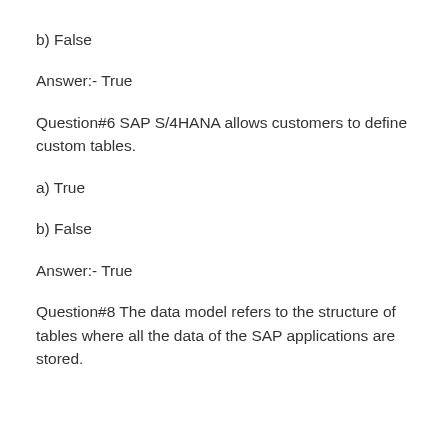b) False
Answer:- True
Question#6 SAP S/4HANA allows customers to define custom tables.
a) True
b) False
Answer:- True
Question#8 The data model refers to the structure of tables where all the data of the SAP applications are stored.